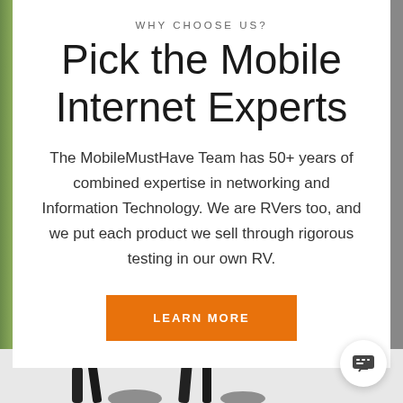WHY CHOOSE US?
Pick the Mobile Internet Experts
The MobileMustHave Team has 50+ years of combined expertise in networking and Information Technology. We are RVers too, and we put each product we sell through rigorous testing in our own RV.
LEARN MORE
[Figure (illustration): Bottom portion showing partial illustration or photo with dark objects on light background, and a circular chat button in the lower right corner.]